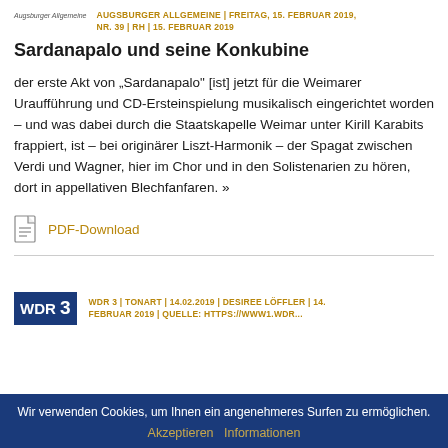Augsburger Allgemeine | AUGSBURGER ALLGEMEINE | FREITAG, 15. FEBRUAR 2019, NR. 39 | RH | 15. FEBRUAR 2019
Sardanapalo und seine Konkubine
der erste Akt von „Sardanapalo“ [ist] jetzt für die Weimarer Uraufführung und CD-Ersteinspielung musikalisch eingerichtet worden – und was dabei durch die Staatskapelle Weimar unter Kirill Karabits frappiert, ist – bei originärer Liszt-Harmonik – der Spagat zwischen Verdi und Wagner, hier im Chor und in den Solistenarien zu hören, dort in appellativen Blechfanfaren. »
PDF-Download
WDR 3 | TONART | 14.02.2019 | DESIREE LÖFFLER | 14. FEBRUAR 2019 | QUELLE: HTTPS://WWW1.WDR...
Wir verwenden Cookies, um Ihnen ein angenehmeres Surfen zu ermöglichen.
Akzeptieren Informationen